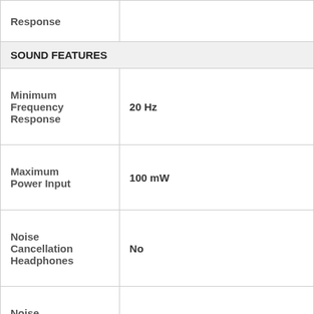| Response |  |
| SOUND FEATURES |  |
| Minimum Frequency Response | 20 Hz |
| Maximum Power Input | 100 mW |
| Noise Cancellation Headphones | No |
| Noise Reduction Headphones | 3 |
| Noise | 3 (Headphones), No |